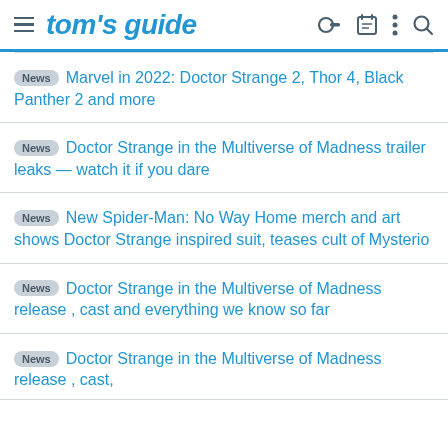tom's guide
News Marvel in 2022: Doctor Strange 2, Thor 4, Black Panther 2 and more
News Doctor Strange in the Multiverse of Madness trailer leaks — watch it if you dare
News New Spider-Man: No Way Home merch and art shows Doctor Strange inspired suit, teases cult of Mysterio
News Doctor Strange in the Multiverse of Madness release , cast and everything we know so far
News Doctor Strange in the Multiverse of Madness release , cast,